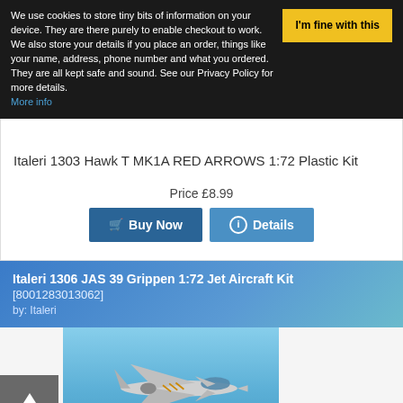We use cookies to store tiny bits of information on your device. They are there purely to enable checkout to work. We also store your details if you place an order, things like your name, address, phone number and what you ordered. They are all kept safe and sound. See our Privacy Policy for more details. More info
Italeri 1303 Hawk T MK1A RED ARROWS 1:72 Plastic Kit
Price £8.99
Buy Now
Details
Italeri 1306 JAS 39 Grippen 1:72 Jet Aircraft Kit
[8001283013062]
by: Italeri
[Figure (photo): Photo of a jet aircraft (JAS 39 Grippen) in flight against a blue sky background]